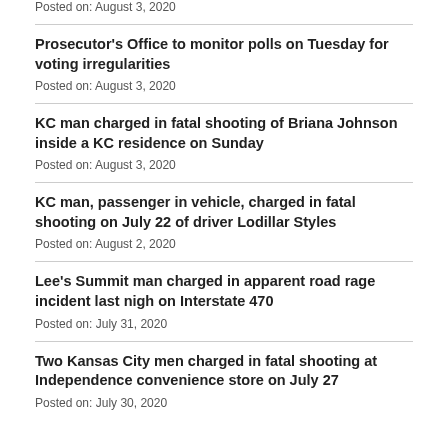Posted on: August 3, 2020
Prosecutor's Office to monitor polls on Tuesday for voting irregularities
Posted on: August 3, 2020
KC man charged in fatal shooting of Briana Johnson inside a KC residence on Sunday
Posted on: August 3, 2020
KC man, passenger in vehicle, charged in fatal shooting on July 22 of driver Lodillar Styles
Posted on: August 2, 2020
Lee's Summit man charged in apparent road rage incident last nigh on Interstate 470
Posted on: July 31, 2020
Two Kansas City men charged in fatal shooting at Independence convenience store on July 27
Posted on: July 30, 2020